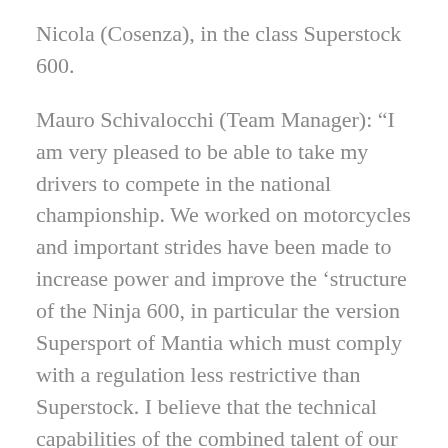Nicola (Cosenza), in the class Superstock 600.
Mauro Schivalocchi (Team Manager): “I am very pleased to be able to take my drivers to compete in the national championship. We worked on motorcycles and important strides have been made to increase power and improve the ‘structure of the Ninja 600, in particular the version Supersport of Mantia which must comply with a regulation less restrictive than Superstock. I believe that the technical capabilities of the combined talent of our pilots will give us satisfaction during the season. I think we have all the credentials to do some good results soon. I wish a good job at Marocchi that already busy in the World Cup will also be present at the CIV to complete the national